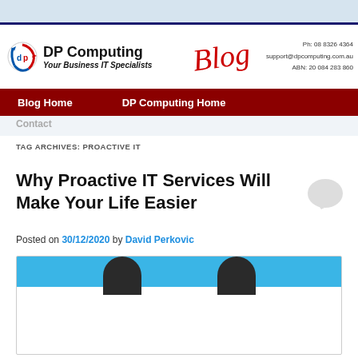DP Computing | Your Business IT Specialists | Blog | Ph: 08 8326 4364 | support@dpcomputing.com.au | ABN: 20 084 283 860
Blog Home | DP Computing Home
Contact
TAG ARCHIVES: PROACTIVE IT
Why Proactive IT Services Will Make Your Life Easier
[Figure (illustration): Grey speech/comment bubble icon]
Posted on 30/12/2020 by David Perkovic
[Figure (photo): Partial blog post featured image with light blue banner and dark silhouettes of people at the top]